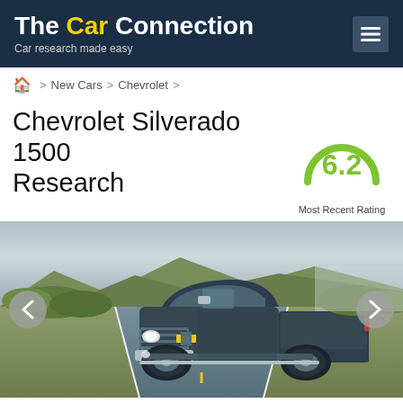The Car Connection — Car research made easy
Home > New Cars > Chevrolet
Chevrolet Silverado 1500 Research
[Figure (other): Circular rating gauge showing score 6.2 with green arc, labeled Most Recent Rating]
Most Recent Rating
[Figure (photo): Chevrolet Silverado 1500 truck driving on a highway with desert/scrubland landscape, left and right navigation arrows visible]